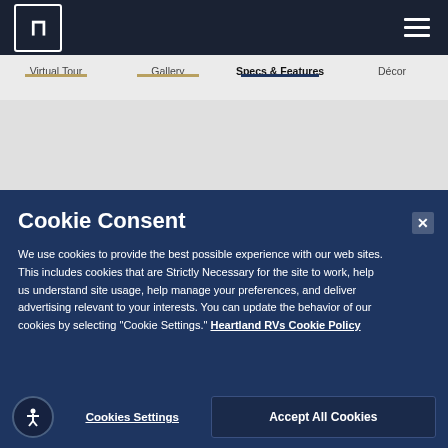Heartland RV website header with logo and hamburger menu
Virtual Tour | Gallery | Specs & Features | Décor
[Figure (screenshot): Navigation tabs with Specs & Features highlighted/active, gold and dark underlines visible]
Cookie Consent
We use cookies to provide the best possible experience with our web sites. This includes cookies that are Strictly Necessary for the site to work, help us understand site usage, help manage your preferences, and deliver advertising relevant to your interests. You can update the behavior of our cookies by selecting "Cookie Settings." Heartland RVs Cookie Policy
Cookies Settings | Accept All Cookies